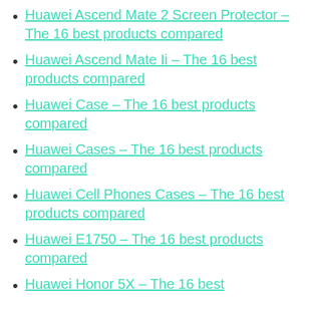Huawei Ascend Mate 2 Screen Protector – The 16 best products compared
Huawei Ascend Mate Ii – The 16 best products compared
Huawei Case – The 16 best products compared
Huawei Cases – The 16 best products compared
Huawei Cell Phones Cases – The 16 best products compared
Huawei E1750 – The 16 best products compared
Huawei Honor 5X – The 16 best